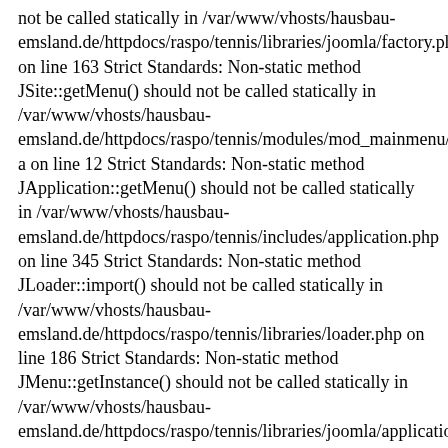not be called statically in /var/www/vhosts/hausbau-emsland.de/httpdocs/raspo/tennis/libraries/joomla/factory.php on line 163 Strict Standards: Non-static method JSite::getMenu() should not be called statically in /var/www/vhosts/hausbau-emsland.de/httpdocs/raspo/tennis/modules/mod_mainmenu/tmpl/defa on line 12 Strict Standards: Non-static method JApplication::getMenu() should not be called statically in /var/www/vhosts/hausbau-emsland.de/httpdocs/raspo/tennis/includes/application.php on line 345 Strict Standards: Non-static method JLoader::import() should not be called statically in /var/www/vhosts/hausbau-emsland.de/httpdocs/raspo/tennis/libraries/loader.php on line 186 Strict Standards: Non-static method JMenu::getInstance() should not be called statically in /var/www/vhosts/hausbau-emsland.de/httpdocs/raspo/tennis/libraries/joomla/application/applica on line 720 Strict Standards: Non-static method JError::isError() should not be called statically in /var/www/vhosts/hausbau-emsland.de/httpdocs/raspo/tennis/libraries/joomla/application/applica on line 721 Strict Standards: Non-static method JFactory::getUser() should not be called statically in /var/www/vhosts/hausbau-emsland.de/httpdocs/raspo/tennis/modules/mod_mainmenu/tmpl/defa on line 11 Strict Standards: Non-static method JLoader::import() should not be called statically in /var/www/vhosts/hausbau-emsland.de/httpdocs/raspo/tennis/libraries/loader.php on line 186